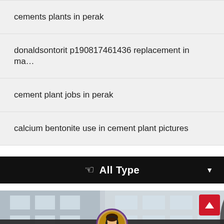cements plants in perak
donaldsontorit p190817461436 replacement in ma…
cement plant jobs in perak
calcium bentonite use in cement plant pictures
[Figure (screenshot): Black toolbar with hand/touch icon and 'All Type' label with dropdown arrow]
[Figure (photo): Partial photo of a building/industrial facility with a chat bar overlay showing 'Leave Message' and 'Chat Online' with a customer service avatar]